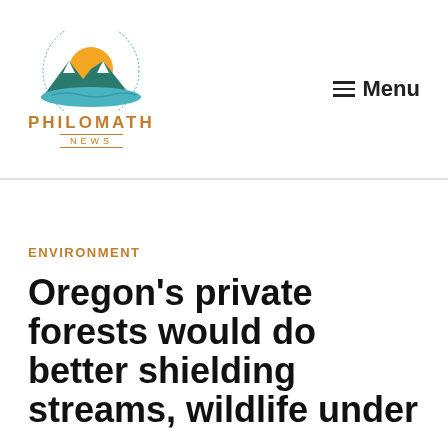Philomath News — Menu
ENVIRONMENT
Oregon's private forests would do better shielding streams, wildlife under